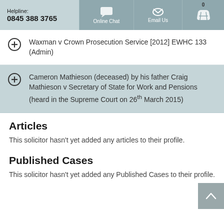Helpline: 0845 388 3765 | Online Chat | Email Us
Waxman v Crown Prosecution Service [2012] EWHC 133 (Admin)
Cameron Mathieson (deceased) by his father Craig Mathieson v Secretary of State for Work and Pensions (heard in the Supreme Court on 26th March 2015)
Articles
This solicitor hasn't yet added any articles to their profile.
Published Cases
This solicitor hasn't yet added any Published Cases to their profile.